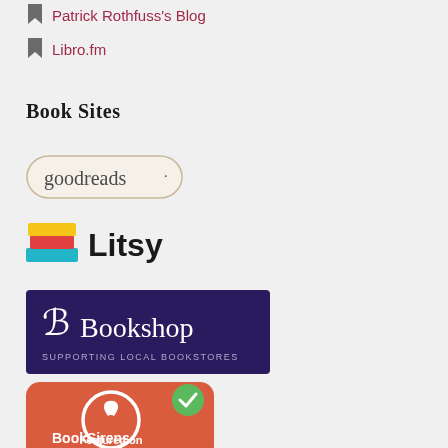Patrick Rothfuss's Blog
Libro.fm
Book Sites
[Figure (logo): Goodreads logo — text 'goodreads' with a dot, inside a rounded beige/cream outlined rectangle]
[Figure (logo): Litsy logo — stacked colorful book spines icon in yellow, red, and teal, next to bold text 'Litsy']
[Figure (logo): Bookshop logo — dark purple/navy rectangle with stylized B icon and text 'Bookshop' and subtext 'SUPPORTING LOCAL BOOKSTORES']
[Figure (logo): BookSirens logo — orange-red rounded rectangle with white circular butterfly icon, text 'Featured on BookSirens', and a green checkmark badge in upper right corner]